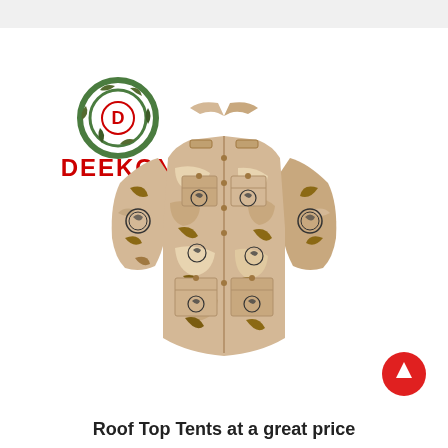[Figure (logo): DEEKON brand logo with circular camouflage target design and red text DEEKON below]
[Figure (photo): Desert camouflage military jacket/shirt with multiple pockets and circular badge patches, long sleeves, button-up front, displayed flat on white background]
[Figure (other): Red circular button with white upward arrow, scroll-to-top UI element]
Roof Top Tents at a great price